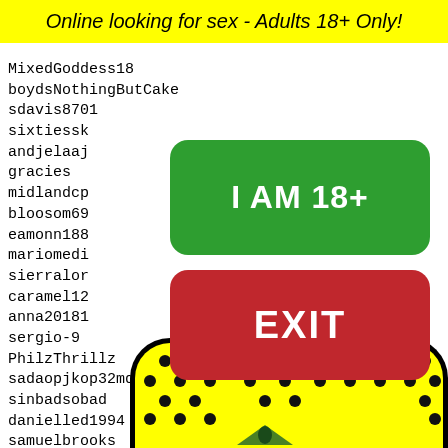Online looking for sex - Adults 18+ Only!
MixedGoddess18
boydsNothingButCake
sdavis8701
sixtiessk
andjelaaj
gracies
midlandcp
bloosom69
eamonn188
mariomedi
sierralor
caramel12
anna20181
sergio-9
PhilzThrillz
sadaopjkop32mq
sinbadsobad
danielled1994 19388 19389 19390 19391 19392
samuelbrooks
meikab
devil9
nereii
niceb0
aprici
crazis
[Figure (illustration): Yellow rounded panel with black dots arranged in a pattern and a green bow tie at the bottom, resembling a cartoon face or emoji. Black thick border.]
[Figure (infographic): Green rounded button with white bold text: I AM 18+]
[Figure (infographic): Red rounded button with white bold text: EXIT]